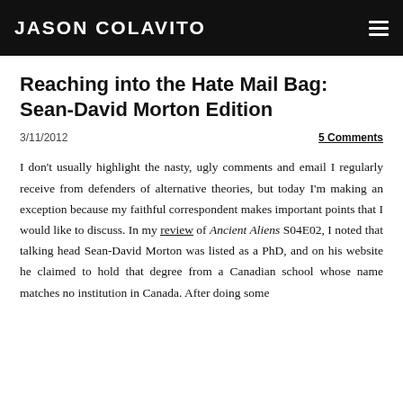JASON COLAVITO
Reaching into the Hate Mail Bag: Sean-David Morton Edition
3/11/2012
5 Comments
I don't usually highlight the nasty, ugly comments and email I regularly receive from defenders of alternative theories, but today I'm making an exception because my faithful correspondent makes important points that I would like to discuss. In my review of Ancient Aliens S04E02, I noted that talking head Sean-David Morton was listed as a PhD, and on his website he claimed to hold that degree from a Canadian school whose name matches no institution in Canada. After doing some